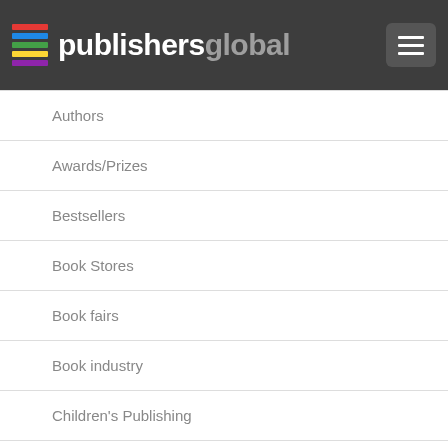publishersglobal
Authors
Awards/Prizes
Bestsellers
Book Stores
Book fairs
Book industry
Children's Publishing
Comics
Cookbooks